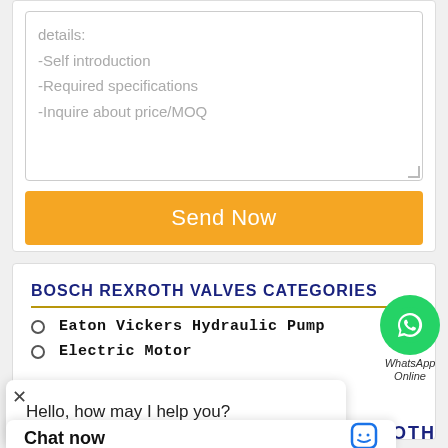details:
-Self introduction
-Required specifications
-Inquire about price/MOQ
Send Now
BOSCH REXROTH VALVES CATEGORIES
Eaton Vickers Hydraulic Pump
Electric Motor
MORE
[Figure (logo): WhatsApp icon green circle with phone handset, labeled WhatsApp Online]
Hello, how may I help you?
Chat now
REXROTH